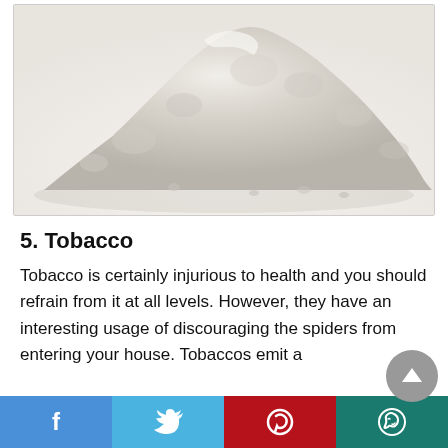[Figure (photo): A pile of white/light grey powder photographed on a white surface, viewed from the side showing a mound shape.]
5. Tobacco
Tobacco is certainly injurious to health and you should refrain from it at all levels. However, they have an interesting usage of discouraging the spiders from entering your house. Tobaccos emit a